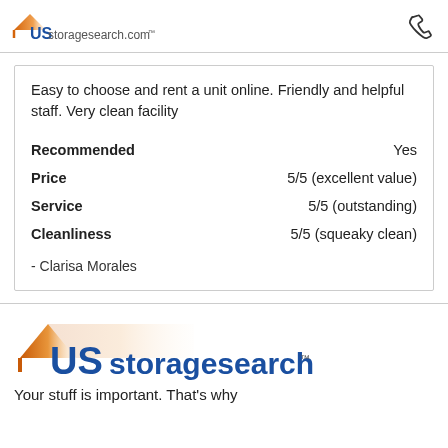USstoragesearch.com
Easy to choose and rent a unit online. Friendly and helpful staff. Very clean facility
Recommended: Yes | Price: 5/5 (excellent value) | Service: 5/5 (outstanding) | Cleanliness: 5/5 (squeaky clean)
- Clarisa Morales
[Figure (logo): USstoragesearch.com logo large with roof/house icon and orange gradient]
Your stuff is important. That's why